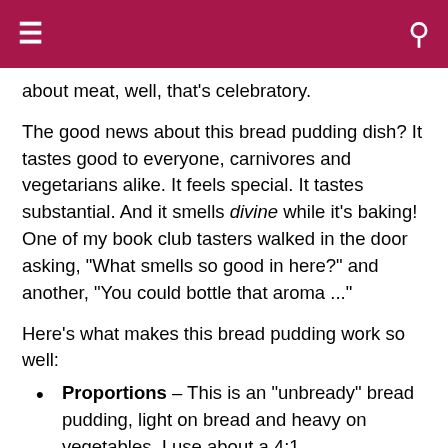about meat, well, that's celebratory.
The good news about this bread pudding dish? It tastes good to everyone, carnivores and vegetarians alike. It feels special. It tastes substantial. And it smells divine while it's baking! One of my book club tasters walked in the door asking, "What smells so good in here?" and another, "You could bottle that aroma ..."
Here's what makes this bread pudding work so well:
Proportions – This is an "unbready" bread pudding, light on bread and heavy on vegetables. I use about a 4:1 vegetable:bread ratio.